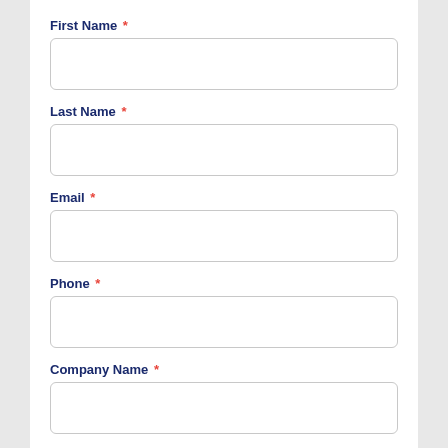First Name *
Last Name *
Email *
Phone *
Company Name *